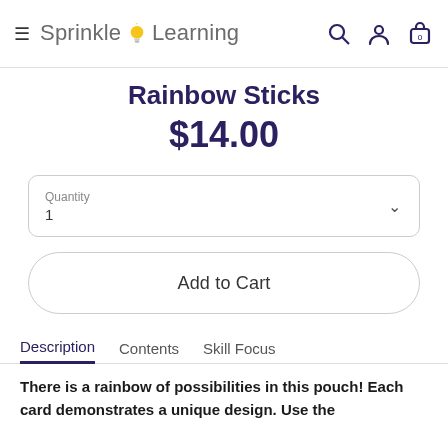Sprinkle Learning — navigation header with hamburger, search, account, and cart icons
Rainbow Sticks
$14.00
Quantity
1
Add to Cart
Description   Contents   Skill Focus
There is a rainbow of possibilities in this pouch! Each card demonstrates a unique design. Use the